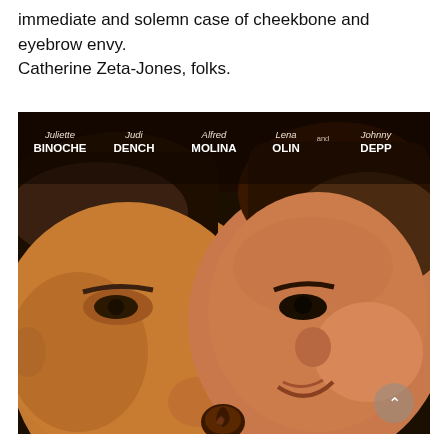immediate and solemn case of cheekbone and eyebrow envy. Catherine Zeta-Jones, folks.
[Figure (photo): Movie poster for Chocolat featuring two faces close together — a man on the left looking toward the woman, and a woman on the right smiling, with actor names listed at the top: Juliette Binoche, Judi Dench, Alfred Molina, Lena Olin, and Johnny Depp.]